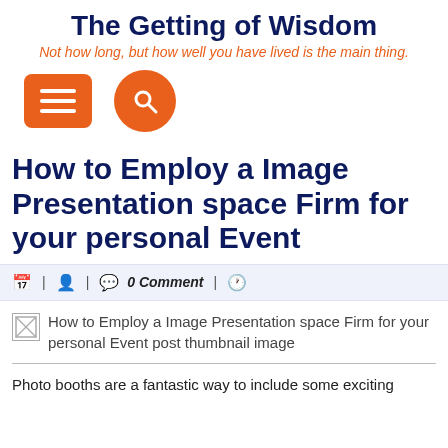The Getting of Wisdom
Not how long, but how well you have lived is the main thing.
[Figure (infographic): Navigation icons: orange rounded rectangle with three white horizontal lines (hamburger menu) and an orange circle with a white magnifying glass (search button)]
How to Employ a Image Presentation space Firm for your personal Event
| 🧑 | 💬 0 Comment | 🕐
[Figure (photo): Broken image placeholder for: How to Employ a Image Presentation space Firm for your personal Event post thumbnail image]
Photo booths are a fantastic way to include some exciting